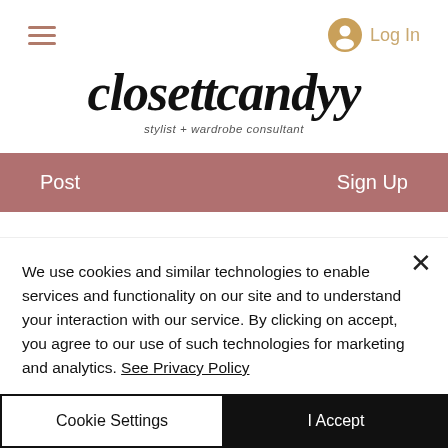Navigation bar with hamburger menu and Log In button
closettcandyy – stylist + wardrobe consultant
Post    Sign Up
We use cookies and similar technologies to enable services and functionality on our site and to understand your interaction with our service. By clicking on accept, you agree to our use of such technologies for marketing and analytics. See Privacy Policy
Cookie Settings    I Accept